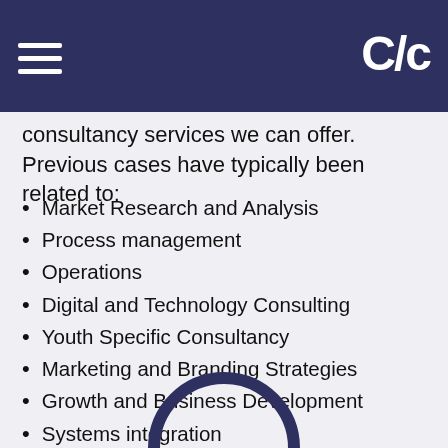CZC (logo/header bar)
consultancy services we can offer. Previous cases have typically been related to:
Market Research and Analysis
Process management
Operations
Digital and Technology Consulting
Youth Specific Consultancy
Marketing and Branding Strategies
Growth and Business Development
Systems integration
Increasing Funding
Cost-benefit Analysis
Competitor Analysis
[Figure (illustration): Partial dark navy circle/arc visible at the bottom center of the page]